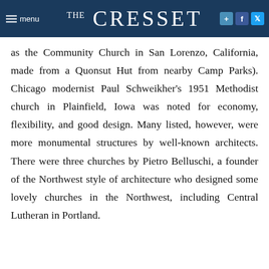THE CRESSET
as the Community Church in San Lorenzo, California, made from a Quonsut Hut from nearby Camp Parks). Chicago modernist Paul Schweikher's 1951 Methodist church in Plainfield, Iowa was noted for economy, flexibility, and good design. Many listed, however, were more monumental structures by well-known architects. There were three churches by Pietro Belluschi, a founder of the Northwest style of architecture who designed some lovely churches in the Northwest, including Central Lutheran in Portland.